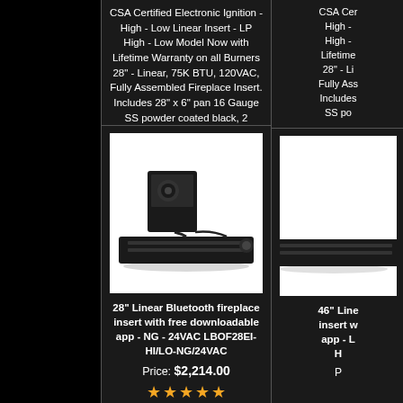CSA Certified Electronic Ignition - High - Low Linear Insert - LP High - Low Model Now with Lifetime Warranty on all Burners 28" - Linear, 75K BTU, 120VAC, Fully Assembled Fireplace Insert. Includes 28" x 6" pan 16 Gauge SS powder coated black, 2
CSA Cer... High - ... High -... Lifetime... 28" - Li... Fully Ass... Includes... SS po...
[Figure (photo): 28 inch linear Bluetooth fireplace insert - black metal burner with electronic ignition box attached by cable, shown on white background]
28" Linear Bluetooth fireplace insert with free downloadable app - NG - 24VAC LBOF28EI-HI/LO-NG/24VAC
Price: $2,214.00
★★★★★
ADD TO CART
MORE INFO
46" Line... insert w... app - L... H...
P...